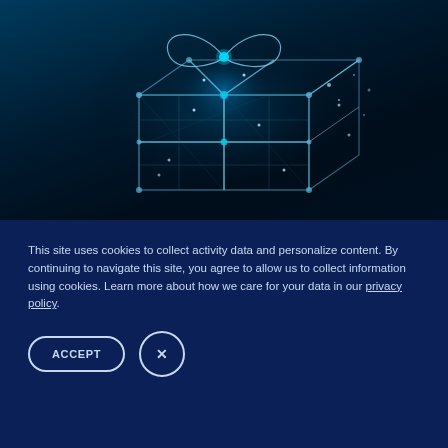[Figure (illustration): Digital wireframe gift box made of glowing blue geometric lines and dots on a dark navy/teal background, with a glowing bow on top and sparkle effects.]
This site uses cookies to collect activity data and personalize content. By continuing to navigate this site, you agree to allow us to collect information using cookies. Learn more about how we care for your data in our privacy policy.